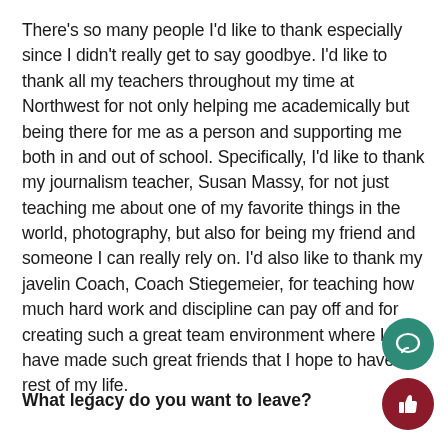There's so many people I'd like to thank especially since I didn't really get to say goodbye. I'd like to thank all my teachers throughout my time at Northwest for not only helping me academically but being there for me as a person and supporting me both in and out of school. Specifically, I'd like to thank my journalism teacher, Susan Massy, for not just teaching me about one of my favorite things in the world, photography, but also for being my friend and someone I can really rely on. I'd also like to thank my javelin Coach, Coach Stiegemeier, for teaching how much hard work and discipline can pay off and for creating such a great team environment where I have made such great friends that I hope to have for rest of my life.
What legacy do you want to leave?